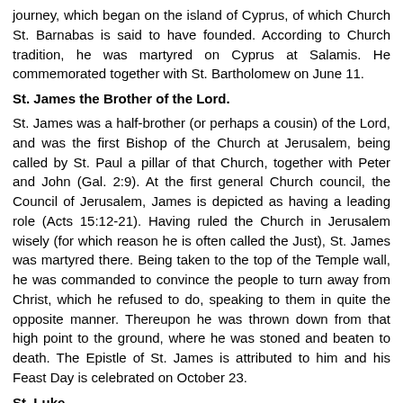journey, which began on the island of Cyprus, of which Church St. Barnabas is said to have founded. According to Church tradition, he was martyred on Cyprus at Salamis. He commemorated together with St. Bartholomew on June 11.
St. James the Brother of the Lord.
St. James was a half-brother (or perhaps a cousin) of the Lord, and was the first Bishop of the Church at Jerusalem, being called by St. Paul a pillar of that Church, together with Peter and John (Gal. 2:9). At the first general Church council, the Council of Jerusalem, James is depicted as having a leading role (Acts 15:12-21). Having ruled the Church in Jerusalem wisely (for which reason he is often called the Just), St. James was martyred there. Being taken to the top of the Temple wall, he was commanded to convince the people to turn away from Christ, which he refused to do, speaking to them in quite the opposite manner. Thereupon he was thrown down from that high point to the ground, where he was stoned and beaten to death. The Epistle of St. James is attributed to him and his Feast Day is celebrated on October 23.
St. Luke.
St. Luke, the Beloved Physician (Col. 4:14), is the author of the Gospel bearing his name, as well as the Acts of the Apostles. He was a Gentile...